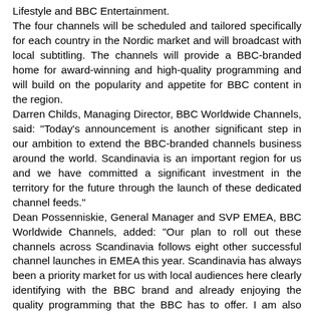Lifestyle and BBC Entertainment. The four channels will be scheduled and tailored specifically for each country in the Nordic market and will broadcast with local subtitling. The channels will provide a BBC-branded home for award-winning and high-quality programming and will build on the popularity and appetite for BBC content in the region. Darren Childs, Managing Director, BBC Worldwide Channels, said: "Today's announcement is another significant step in our ambition to extend the BBC-branded channels business around the world. Scandinavia is an important region for us and we have committed a significant investment in the territory for the future through the launch of these dedicated channel feeds." Dean Possenniskie, General Manager and SVP EMEA, BBC Worldwide Channels, added: "Our plan to roll out these channels across Scandinavia follows eight other successful channel launches in EMEA this year. Scandinavia has always been a priority market for us with local audiences here clearly identifying with the BBC brand and already enjoying the quality programming that the BBC has to offer. I am also delighted that our partnership with Canal Digital will allow us to broadcast BBC HD for the first time in Europe." He continued: "Scandinavia is one of the most advanced...